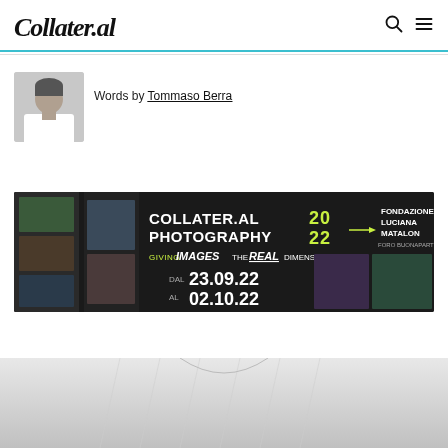Collater.al
[Figure (photo): Author headshot - young man in white t-shirt, black and white photo]
Words by Tommaso Berra
[Figure (photo): Collater.al Photography 2022 banner. Text: COLLATER.AL PHOTOGRAPHY 2022. GIVING IMAGES THE REAL DIMENSION. FONDAZIONE LUCIANA MATALON. FORO BUONAPARTE, 67. DAL 23.09.22 AL 02.10.22]
[Figure (photo): Black and white portrait photo, bottom portion visible showing person in white sweater]